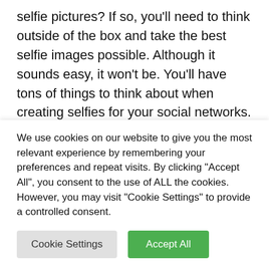selfie pictures? If so, you'll need to think outside of the box and take the best selfie images possible. Although it sounds easy, it won't be. You'll have tons of things to think about when creating selfies for your social networks. One of the most important factors will be the lighting in the room. It is pertinent to make sure there is enough lighting, but not too much. Using a Selfie ring light can make a world of difference.

It'll provide you with adequate light without overdoing
We use cookies on our website to give you the most relevant experience by remembering your preferences and repeat visits. By clicking "Accept All", you consent to the use of ALL the cookies. However, you may visit "Cookie Settings" to provide a controlled consent.